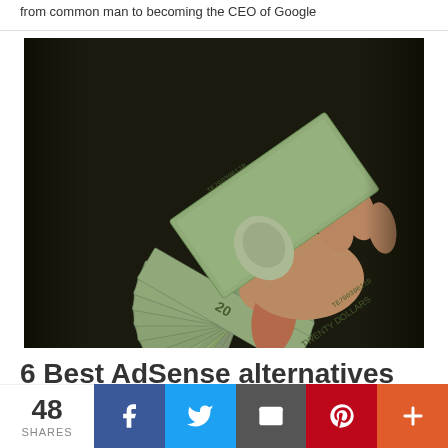from common man to becoming the CEO of Google
[Figure (photo): Hand holding a fan of US $20 dollar bills fanned out against a dark background]
6 Best AdSense alternatives for blogs 2019 to continue
48 SHARES
[Figure (infographic): Social share bar with Facebook, Twitter, Email, Pinterest, and More buttons showing 48 shares]